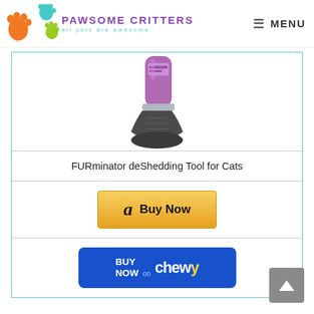Pawsome Critters — all pets are awesome | MENU
[Figure (photo): FURminator deShedding Tool for Cats product image showing the purple and gray grooming tool handle and blade]
FURminator deShedding Tool for Cats
[Figure (other): Amazon Buy Now button with Amazon 'a' logo]
[Figure (other): Buy Now on Chewy button with Chewy logo]